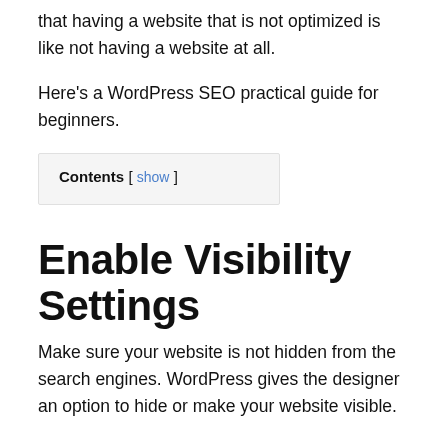that having a website that is not optimized is like not having a website at all.
Here's a WordPress SEO practical guide for beginners.
Contents [ show ]
Enable Visibility Settings
Make sure your website is not hidden from the search engines. WordPress gives the designer an option to hide or make your website visible.